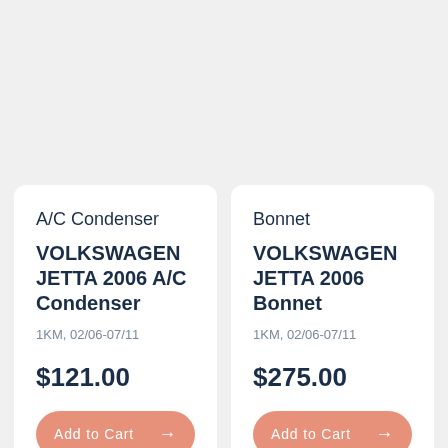A/C Condenser
VOLKSWAGEN JETTA 2006 A/C Condenser
1KM, 02/06-07/11
$121.00
Add to Cart →
Bonnet
VOLKSWAGEN JETTA 2006 Bonnet
1KM, 02/06-07/11
$275.00
Add to Cart →